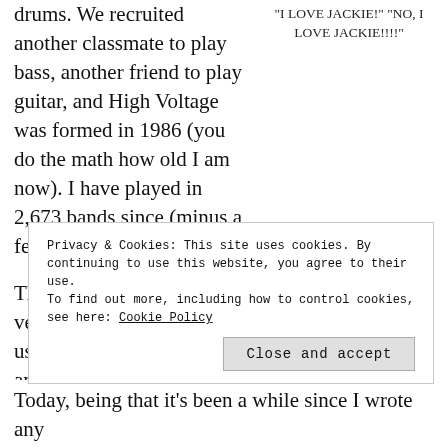drums. We recruited another classmate to play bass, another friend to play guitar, and High Voltage was formed in 1986 (you do the math how old I am now). I have played in 2,673 bands since (minus a few thousand).
“I LOVE JACKIE!” “NO, I LOVE JACKIE!!!!”
Throughout my musical career (I use that term very loosely in that having a career in something usually means you actually make money doing it and, you know, do it full-time, neither of which I do) I have had many great moments, some okay moments, and
Privacy & Cookies: This site uses cookies. By continuing to use this website, you agree to their use. To find out more, including how to control cookies, see here: Cookie Policy
Today, being that it’s been a while since I wrote any